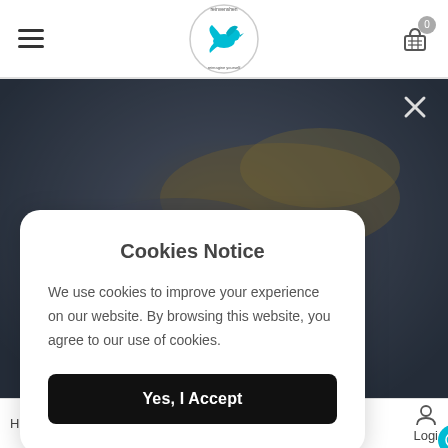[Figure (screenshot): Website header with hamburger menu, reinvenshen logo (circular badge with teal bird), and shopping cart icon with 0 badge]
[Figure (photo): Dark moody sky with clouds background image]
Cookies Notice
We use cookies to improve your experience on our website. By browsing this website, you agree to our use of cookies.
Yes, I Accept
Home   Cart (0)   Wishlist (0)   Logi[n]